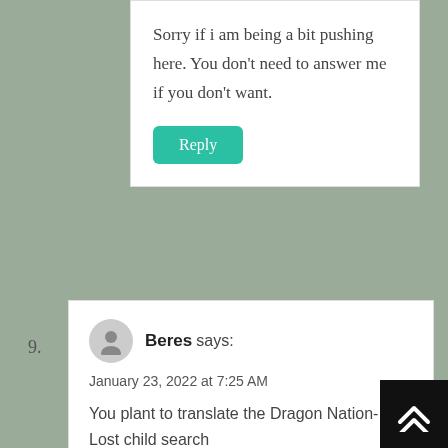Sorry if i am being a bit pushing here. You don't need to answer me if you don't want.
Reply
9.
Beres says:
January 23, 2022 at 7:25 AM
You plant to translate the Dragon Nation- Lost child search